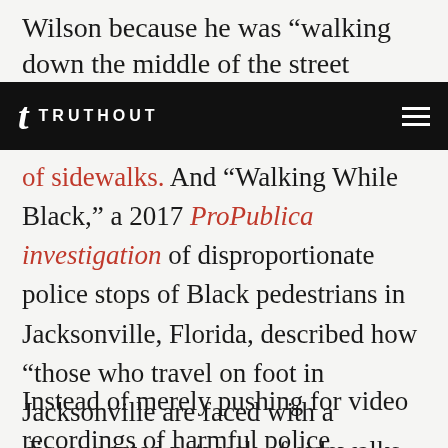Wilson because he was “walking down the middle of the street blocking traffic” Notably
t TRUTHOUT
of sidewalks. And “Walking While Black,” a 2017 ProPublica investigation of disproportionate police stops of Black pedestrians in Jacksonville, Florida, described how “those who travel on foot in Jacksonville are faced with a disconnected network of sidewalks, which are often in disrepair.”
Instead of merely pushing for video recordings of harmful police interactions, we should